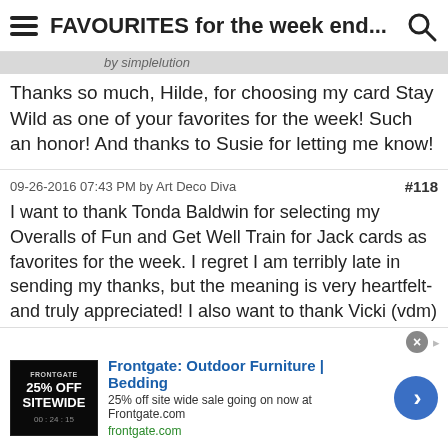FAVOURITES for the week end...
Thanks so much, Hilde, for choosing my card Stay Wild as one of your favorites for the week! Such an honor! And thanks to Susie for letting me know!
09-26-2016 07:43 PM by Art Deco Diva  #118
I want to thank Tonda Baldwin for selecting my Overalls of Fun and Get Well Train for Jack cards as favorites for the week. I regret I am terribly late in sending my thanks, but the meaning is very heartfelt- and truly appreciated! I also want to thank Vicki (vdm) for sharing this wonderful happy news with me! I so appreciate it! Thanks again for your support and recognition of my cards. Hugs! ~Karen.
[Figure (screenshot): Advertisement for Frontgate: Outdoor Furniture | Bedding. 25% off site wide sale going on now at Frontgate.com. frontgate.com]